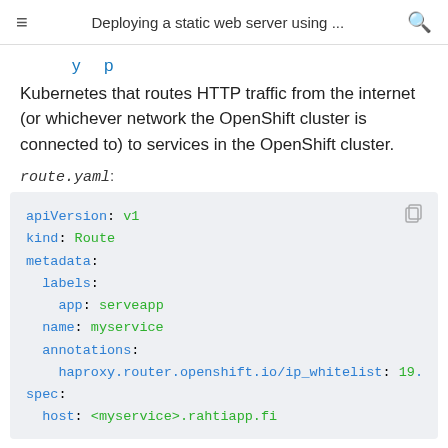Deploying a static web server using ...
Kubernetes that routes HTTP traffic from the internet (or whichever network the OpenShift cluster is connected to) to services in the OpenShift cluster.
route.yaml:
apiVersion: v1
kind: Route
metadata:
  labels:
    app: serveapp
  name: myservice
  annotations:
    haproxy.router.openshift.io/ip_whitelist: 19...
spec:
  host: <myservice>.rahtiapp.fi